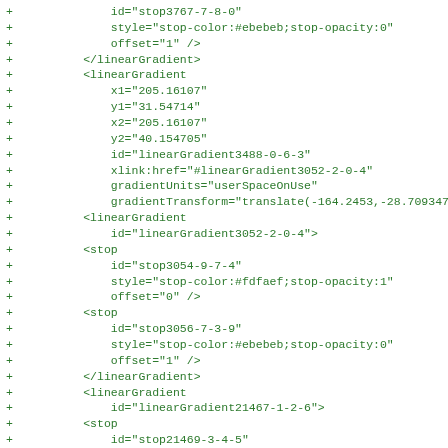Diff/code view showing SVG linearGradient XML additions
+             id="stop3767-7-8-0"
+             style="stop-color:#ebebeb;stop-opacity:0"
+             offset="1" />
+         </linearGradient>
+         <linearGradient
+             x1="205.16107"
+             y1="31.54714"
+             x2="205.16107"
+             y2="40.154705"
+             id="linearGradient3488-0-6-3"
+             xlink:href="#linearGradient3052-2-0-4"
+             gradientUnits="userSpaceOnUse"
+             gradientTransform="translate(-164.2453,-28.709347)"
+         <linearGradient
+             id="linearGradient3052-2-0-4">
+         <stop
+             id="stop3054-9-7-4"
+             style="stop-color:#fdfaef;stop-opacity:1"
+             offset="0" />
+         <stop
+             id="stop3056-7-3-9"
+             style="stop-color:#ebebeb;stop-opacity:0"
+             offset="1" />
+         </linearGradient>
+         <linearGradient
+             id="linearGradient21467-1-2-6">
+         <stop
+             id="stop21469-3-4-5"
+             style="stop-color:#d9c07b;stop-opacity:1"
+             offset="0" />
+         <stop
+             id="stop21471-3-3-7"
+             style="stop-color:#ebebeb;stop-opacity:0"